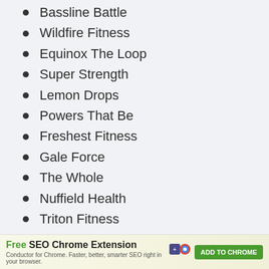Bassline Battle
Wildfire Fitness
Equinox The Loop
Super Strength
Lemon Drops
Powers That Be
Freshest Fitness
Gale Force
The Whole
Nuffield Health
Triton Fitness
Mindful Body Fitness
[Figure (screenshot): Advertisement banner for Free SEO Chrome Extension by Conductor. Text reads: 'Free SEO Chrome Extension. Conductor for Chrome. Faster, better, smarter SEO right in your browser.' with an ADD TO CHROME button.]